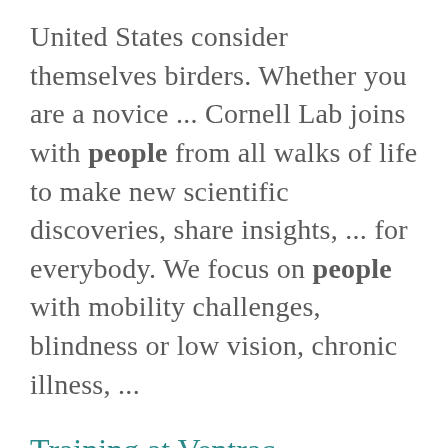United States consider themselves birders. Whether you are a novice ... Cornell Lab joins with people from all walks of life to make new scientific discoveries, share insights, ... for everybody. We focus on people with mobility challenges, blindness or low vision, chronic illness, ...
Training at Ventrac
https://ati.osu.edu/june-29-2022/training-ventrac People, Building & Sustaining Trust. Future sessions include: Leading Teams/Achieve more Together, ... Master your Focus/Maximize your Time, and Coaching-